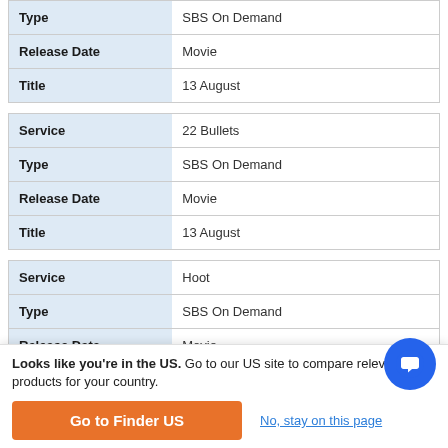| Field | Value |
| --- | --- |
| Service | In Business (clipped) |
| Type | SBS On Demand |
| Release Date | Movie |
| Title | 13 August |
| Field | Value |
| --- | --- |
| Service | 22 Bullets |
| Type | SBS On Demand |
| Release Date | Movie |
| Title | 13 August |
| Field | Value |
| --- | --- |
| Service | Hoot |
| Type | SBS On Demand |
| Release Date | Movie |
Looks like you're in the US. Go to our US site to compare relevant products for your country.